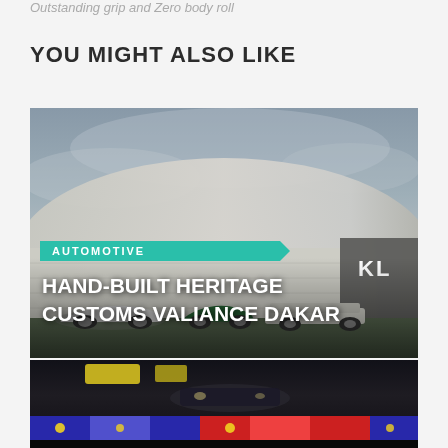Outstanding grip and Zero body roll
YOU MIGHT ALSO LIKE
[Figure (photo): Automotive dealership building exterior with cars parked in front, including a white Jaguar, green MINI, and Land Rover Defender. Building has a curved facade with KL lettering visible.]
AUTOMOTIVE
HAND-BUILT HERITAGE CUSTOMS VALIANCE DAKAR
[Figure (photo): Blurred racing scene at night showing a racing car passing by with colourful sponsor banners in the background.]